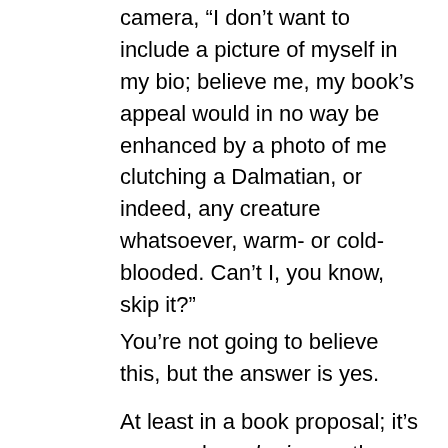camera, “I don’t want to include a picture of myself in my bio; believe me, my book’s appeal would in no way be enhanced by a photo of me clutching a Dalmatian, or indeed, any creature whatsoever, warm- or cold-blooded. Can’t I, you know, skip it?”
You’re not going to believe this, but the answer is yes.
At least in a book proposal; it’s more or less de rigueur these days in a bio accompanying a manuscript submission. (Hey, both Millicent and Maury will want to be able to tell their bosses